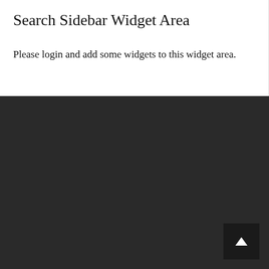Search Sidebar Widget Area
Please login and add some widgets to this widget area.